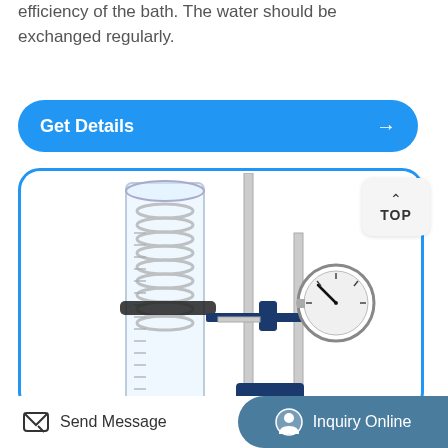efficiency of the bath. The water should be exchanged regularly.
Get Details →
[Figure (photo): Laboratory equipment showing a transparent graduated cylinder/column with a spiral coil inside, mounted on a metal stand with a pressure gauge, against a white background.]
TOP
Send Message
Inquiry Online